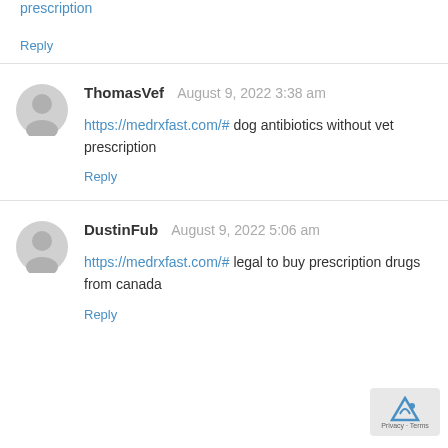prescription
Reply
ThomasVef  August 9, 2022 3:38 am
https://medrxfast.com/# dog antibiotics without vet prescription
Reply
DustinFub  August 9, 2022 5:06 am
https://medrxfast.com/# legal to buy prescription drugs from canada
Reply